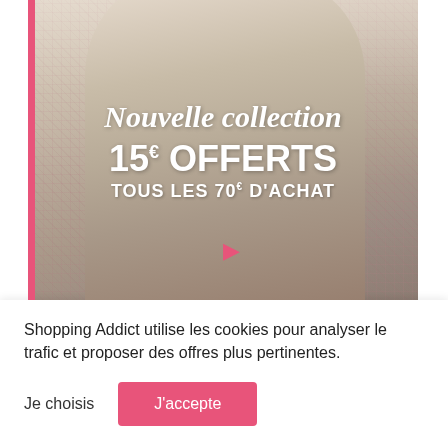[Figure (photo): Fashion promotional banner showing a woman wearing a white/cream tweed skirt and matching crop jacket set. Overlay text reads 'Nouvelle collection 15€ OFFERTS TOUS LES 70€ D'ACHAT'. A pink vertical bar is on the left edge. A pink heart icon appears on the skirt.]
Shopping Addict utilise les cookies pour analyser le trafic et proposer des offres plus pertinentes.
Je choisis
J'accepte